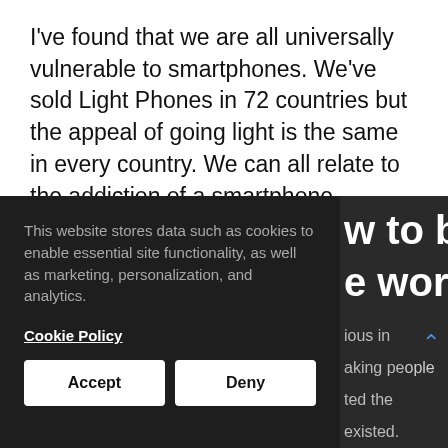I've found that we are all universally vulnerable to smartphones. We've sold Light Phones in 72 countries but the appeal of going light is the same in every country. We can all relate to the addiction of a smartphone, whether it's checking emails or seeing our latest notifications.
[Figure (screenshot): Cookie consent banner overlay on a dark background section. The banner reads: 'This website stores data such as cookies to enable essential site functionality, as well as marketing, personalization, and analytics.' with a 'Cookie Policy' link and 'Accept' / 'Deny' buttons. To the right of the banner, partial bold white text reads 'w to be' and 'e world', and smaller text shows 'ious in', 'aking people', 'ted the', 'existed.' A blue upward caret/arrow is visible on the right.]
Some fragment of text at the bottom (partially cut off).